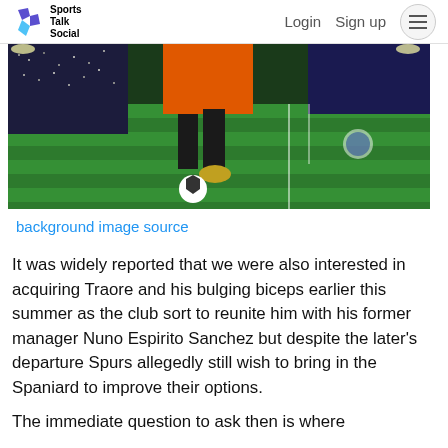Sports Talk Social — Login  Sign up
[Figure (photo): A soccer player in orange jersey jumping on a football pitch inside a large packed stadium at night under floodlights.]
background image source
It was widely reported that we were also interested in acquiring Traore and his bulging biceps earlier this summer as the club sort to reunite him with his former manager Nuno Espirito Sanchez but despite the later's departure Spurs allegedly still wish to bring in the Spaniard to improve their options.
The immediate question to ask then is where